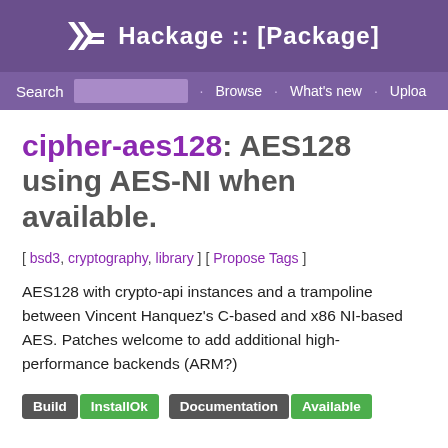Hackage :: [Package]
Search · Browse · What's new · Upload
cipher-aes128: AES128 using AES-NI when available.
[ bsd3, cryptography, library ] [ Propose Tags ]
AES128 with crypto-api instances and a trampoline between Vincent Hanquez's C-based and x86 NI-based AES. Patches welcome to add additional high-performance backends (ARM?)
Build InstallOk Documentation Available